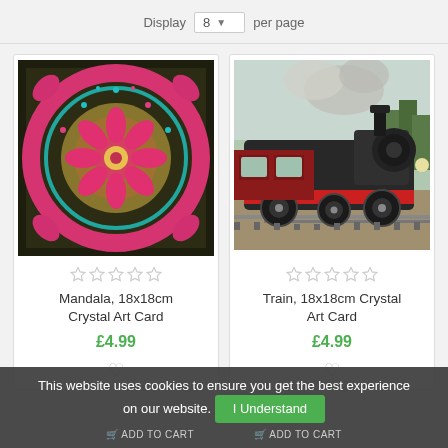Display 8 per page
[Figure (photo): Mandala 18x18cm Crystal Art Card product image showing colorful mandala pattern with pink, teal, gold beads on dark background]
Mandala, 18x18cm Crystal Art Card
£4.99
[Figure (photo): Train 18x18cm Crystal Art Card product image showing a black steam locomotive with red trim on railway tracks with trees and smoke]
Train, 18x18cm Crystal Art Card
£4.99
This website uses cookies to ensure you get the best experience on our website.
I Understand